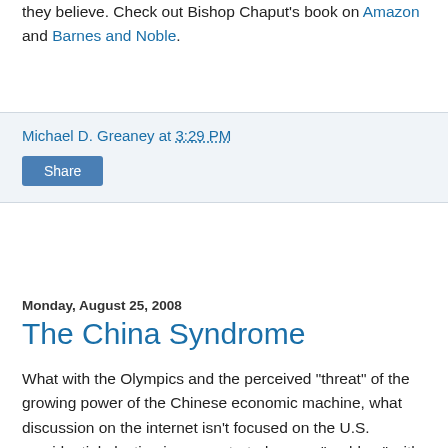they believe. Check out Bishop Chaput's book on Amazon and Barnes and Noble.
Michael D. Greaney at 3:29 PM
Share
Monday, August 25, 2008
The China Syndrome
What with the Olympics and the perceived "threat" of the growing power of the Chinese economic machine, what discussion on the internet isn't focused on the U.S. presidential election is concentrated on our "problem" with China. Let's be honest, however. Our problem isn't with China. Our problem is with us — just as China's problem is with China.
China is steamrolling forward with all the aspect of an economic juggernaut that will very quickly come to dominate the world. There is, however, one extremely serious error the